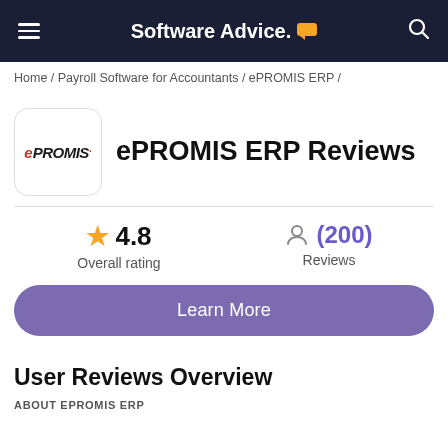Software Advice.
Home / Payroll Software for Accountants / ePROMIS ERP /
[Figure (logo): ePROMIS logo in a rounded white box]
ePROMIS ERP Reviews
★ 4.8  Overall rating
(200)  Reviews
Learn More
User Reviews Overview
ABOUT EPROMIS ERP